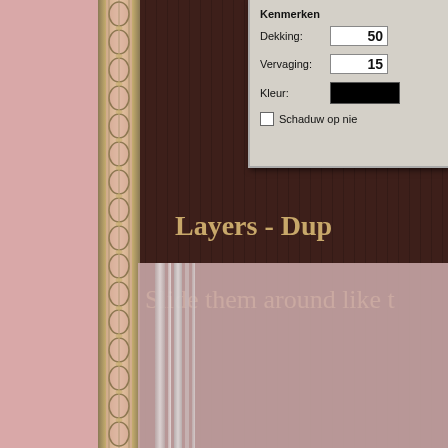[Figure (screenshot): Screenshot of a software dialog box (Dutch language) showing Kenmerken with Dekking: 50, Vervaging: 15, Kleur: black swatch, and a checkbox labeled 'Schaduw op nie...' overlaid on a digital scrapbooking background with pink fabric, dark brown striped area, and decorative lace border strip.]
Layers - Dup
Slide them around like t